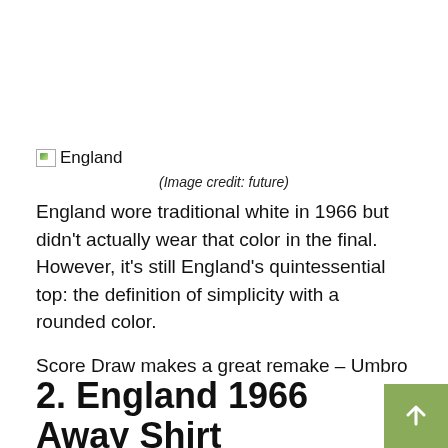[Figure (photo): Broken image placeholder labeled 'England']
(Image credit: future)
England wore traditional white in 1966 but didn't actually wear that color in the final. However, it's still England's quintessential top: the definition of simplicity with a rounded color.
Score Draw makes a great remake – Umbro made the original but it wasn't available for redemption back in the day.
Buy 3Retro Shirt
Today's best Score Draw England 1966 home shirt deals
2. England 1966 Away Shirt